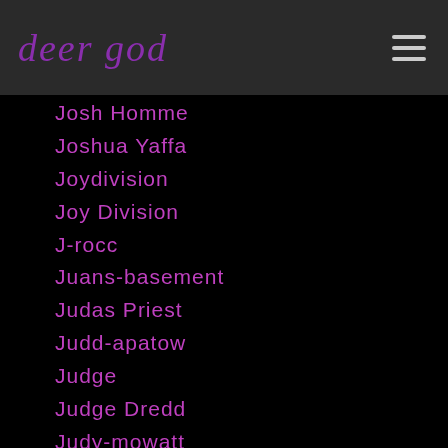deer god
Josh Homme
Joshua Yaffa
Joydivision
Joy Division
J-rocc
Juans-basement
Judas Priest
Judd-apatow
Judge
Judge Dredd
Judy-mowatt
Juice-wrld
Julian-barnes
Julianne-moore
Julien Temple
Julie Ruin
juliet of the spirits